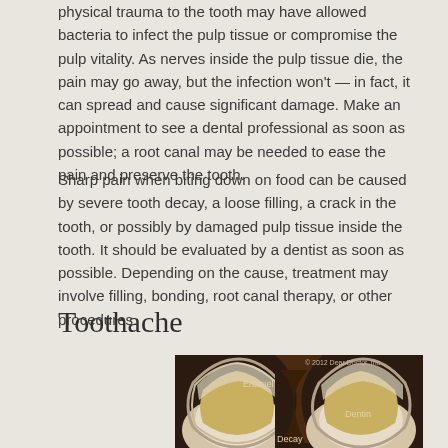physical trauma to the tooth may have allowed bacteria to infect the pulp tissue or compromise the pulp vitality. As nerves inside the pulp tissue die, the pain may go away, but the infection won't — in fact, it can spread and cause significant damage. Make an appointment to see a dental professional as soon as possible; a root canal may be needed to ease the pain and preserve the tooth.
Sharp pain when biting down on food can be caused by severe tooth decay, a loose filling, a crack in the tooth, or possibly by damaged pulp tissue inside the tooth. It should be evaluated by a dentist as soon as possible. Depending on the cause, treatment may involve filling, bonding, root canal therapy, or other procedures.
Toothache
[Figure (illustration): Cross-section illustration of a tooth showing Enamel, Dentin, and Decay labels. Copyright 2012 Dear Doctor, Inc.]